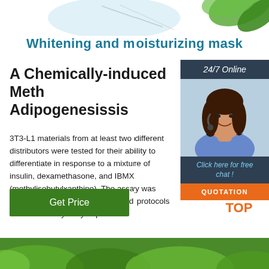[Figure (illustration): Top decorative header with light blue background, leaves top right and a scientific/cosmetic product image]
Whitening and moisturizing mask
[Figure (photo): 24/7 Online customer service widget with woman wearing headset, chat button, and orange QUOTATION button]
A Chemically-induced Method of Adipogenesissis
3T3-L1 materials from at least two different distributors were tested for their ability to differentiate in response to a mixture of insulin, dexamethasone, and IBMX (methylisobutylxanthine). The assay was established according to published protocols and is relatively easy to perform.
[Figure (other): Green 'Get Price' button]
[Figure (other): Orange TOP navigation button with dots]
[Figure (photo): Bottom green strip with leaves/plant image]